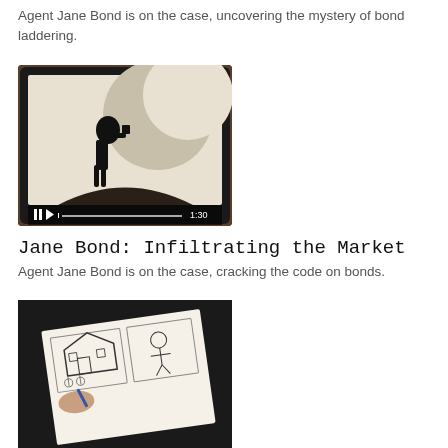Agent Jane Bond is on the case, uncovering the mystery of bond laddering.
[Figure (screenshot): Video thumbnail showing silhouette of a person on a tablet screen with playback controls showing 1:30 duration]
Jane Bond: Infiltrating the Market
Agent Jane Bond is on the case, cracking the code on bonds.
[Figure (photo): Hand drawing a house and scene on paper, viewed from above on a dark background]